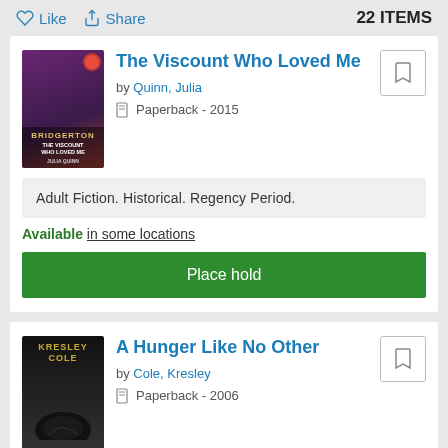Like  Share  22 ITEMS
The Viscount Who Loved Me
by Quinn, Julia
Paperback - 2015
Adult Fiction. Historical. Regency Period.
Available in some locations
Place hold
A Hunger Like No Other
by Cole, Kresley
Paperback - 2006